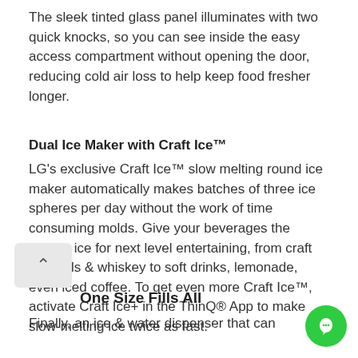The sleek tinted glass panel illuminates with two quick knocks, so you can see inside the easy access compartment without opening the door, reducing cold air loss to help keep food fresher longer.
Dual Ice Maker with Craft Ice™
LG's exclusive Craft Ice™ slow melting round ice maker automatically makes batches of three ice spheres per day without the work of time consuming molds. Give your beverages the perfect ice for next level entertaining, from craft cocktails & whiskey to soft drinks, lemonade, even iced coffee. To get even more Craft Ice™, activate Craft Ice+ in the ThinQ® App to make slow-melting ice twice as fast.
One Size Fills All
Finally, an ice & water dispenser that can